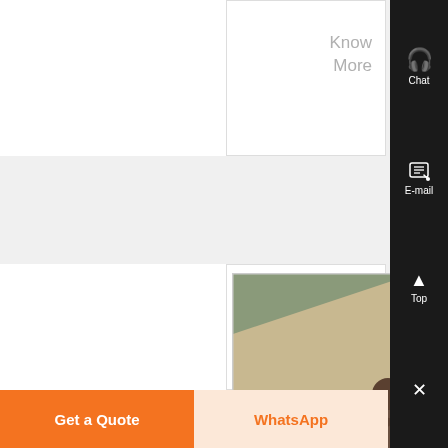Know
More
[Figure (photo): Photo of a person working on a vehicle or machinery outdoors]
kimorkr
Arabic text description (truncated with ellipsis)
Know
More
[Figure (photo): Partial photo visible at bottom, appears to be sky/landscape]
Sam's
Get a Quote
WhatsApp